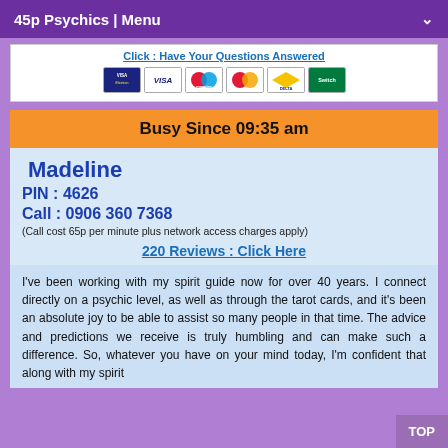45p Psychics | Menu
Click : Have Your Questions Answered
[Figure (other): Payment card logos: Visa Electron, Visa, Maestro, Mastercard, Delta, Switch/Solo]
Busy Since 09:35 am
Madeline
PIN : 4626
Call : 0906 360 7368
(Call cost 65p per minute plus network access charges apply)
220 Reviews : Click Here
I've been working with my spirit guide now for over 40 years. I connect directly on a psychic level, as well as through the tarot cards, and it's been an absolute joy to be able to assist so many people in that time. The advice and predictions we receive is truly humbling and can make such a difference. So, whatever you have on your mind today, I'm confident that along with my spirit